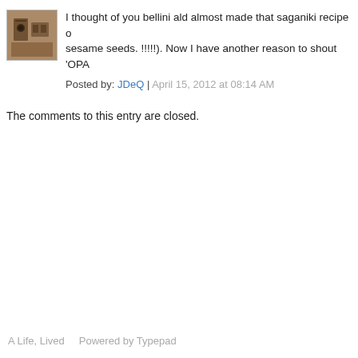[Figure (photo): Small square avatar photo showing a dark-colored scene, possibly animals or objects indoors with warm tones.]
I thought of you bellini ald almost made that saganiki recipe o... sesame seeds. !!!!!). Now I have another reason to shout 'OPA...
Posted by: JDeQ | April 15, 2012 at 08:14 AM
The comments to this entry are closed.
A Life, Lived    Powered by Typepad